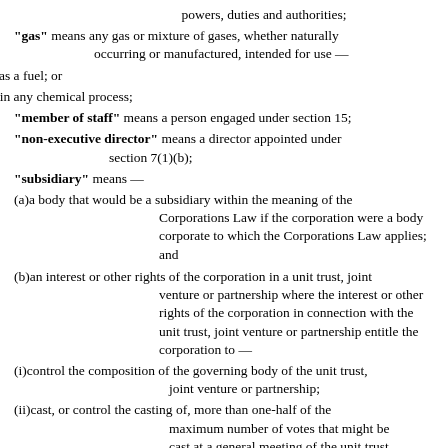powers, duties and authorities;
"gas" means any gas or mixture of gases, whether naturally occurring or manufactured, intended for use —
(a)as a fuel; or
(b)in any chemical process;
"member of staff" means a person engaged under section 15;
"non-executive director" means a director appointed under section 7(1)(b);
"subsidiary" means —
(a)a body that would be a subsidiary within the meaning of the Corporations Law if the corporation were a body corporate to which the Corporations Law applies; and
(b)an interest or other rights of the corporation in a unit trust, joint venture or partnership where the interest or other rights of the corporation in connection with the unit trust, joint venture or partnership entitle the corporation to —
(i)control the composition of the governing body of the unit trust, joint venture or partnership;
(ii)cast, or control the casting of, more than one-half of the maximum number of votes that might be cast at a general meeting of the unit trust,